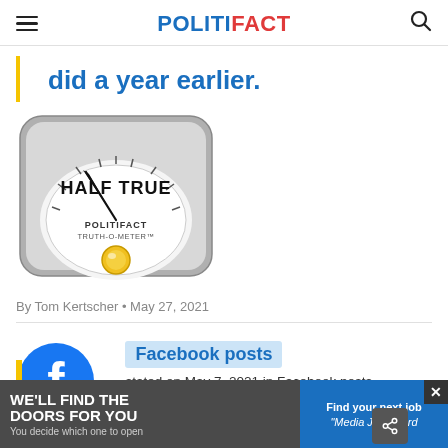POLITIFACT
did a year earlier.
[Figure (illustration): PolitiFact Truth-O-Meter gauge showing HALF TRUE rating with a yellow indicator button at center]
By Tom Kertscher • May 27, 2021
[Figure (logo): Facebook circular logo icon in blue]
Facebook posts
stated on May 7, 2021 in Facebook posts
[Figure (infographic): Advertisement banner: WE'LL FIND THE DOORS FOR YOU - You decide which one to open / Find your next job - Media Job Board]